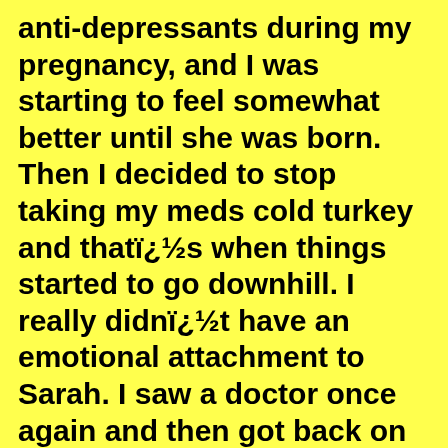anti-depressants during my pregnancy, and I was starting to feel somewhat better until she was born. Then I decided to stop taking my meds cold turkey and thatï¿½s when things started to go downhill. I really didnï¿½t have an emotional attachment to Sarah. I saw a doctor once again and then got back on meds and started going to counseling as well. Both the counseling and the meds together helped me to get back in to the swing of things.
I once again felt like myself again, and I felt like going outside and playing with my kids. I felt like I was able to be the mom that they needed me to be and be